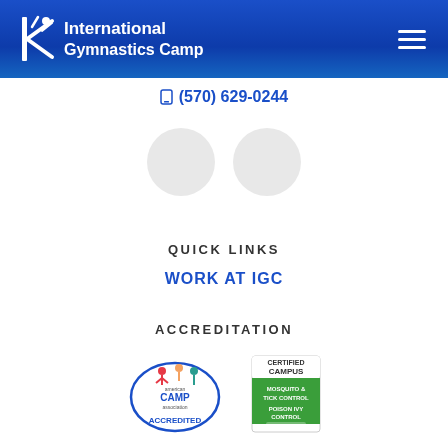[Figure (logo): International Gymnastics Camp logo with white starburst/gymnast icon and text 'International Gymnastics Camp' on blue gradient header banner, with hamburger menu icon on the right]
(570) 629-0244
[Figure (other): Two light gray social media icon circles (Facebook and another platform)]
QUICK LINKS
WORK AT IGC
ACCREDITATION
[Figure (logo): American Camp Association ACCREDITED oval badge logo]
[Figure (logo): Certified Campus badge - Mosquito & Tick Control, Poison Ivy Control - green and white rectangular badge]